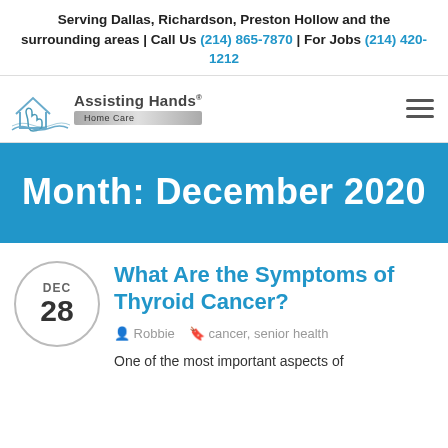Serving Dallas, Richardson, Preston Hollow and the surrounding areas | Call Us (214) 865-7870 | For Jobs (214) 420-1212
[Figure (logo): Assisting Hands Home Care logo with hand/house icon and metallic brand text]
Month: December 2020
What Are the Symptoms of Thyroid Cancer?
Robbie   cancer, senior health
One of the most important aspects of